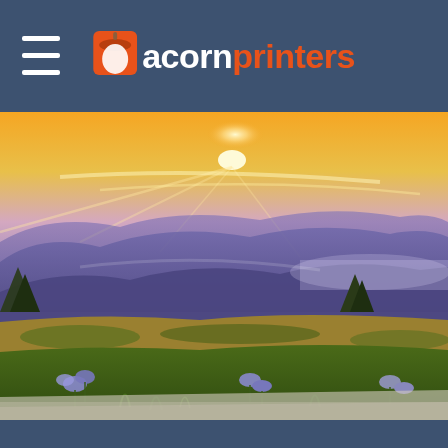acornprinters
[Figure (photo): A printed landscape photograph mounted on foam board sitting on a wooden surface. The photo shows a dramatic mountain sunset scene with purple-hued mountain ranges, golden sky with sun rays, wildflowers including blue flowers in the foreground, and green meadows with trees.]